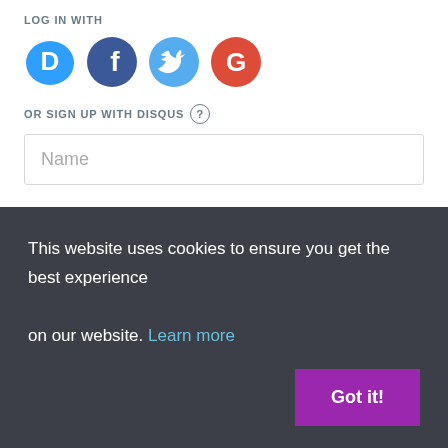LOG IN WITH
[Figure (illustration): Four social login icons: Disqus (blue speech bubble with D), Facebook (blue circle with f), Twitter (light blue circle with bird), Google (red circle with G)]
OR SIGN UP WITH DISQUS ?
Name
Be the first to comment.
This website uses cookies to ensure you get the best experience on our website. Learn more
Got it!